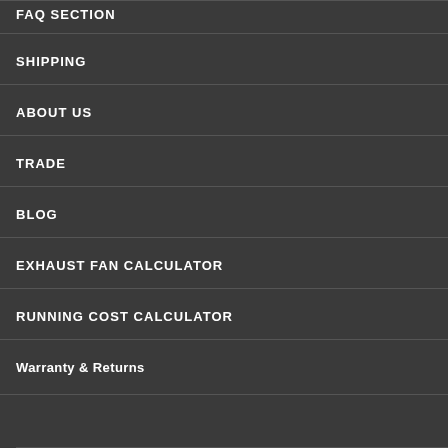FAQ SECTION
SHIPPING
ABOUT US
TRADE
BLOG
EXHAUST FAN CALCULATOR
RUNNING COST CALCULATOR
Warranty & Returns